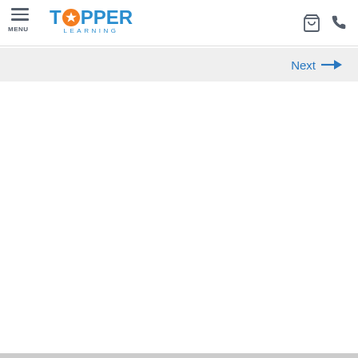TOPPER LEARNING — MENU, cart icon, phone icon
Next →